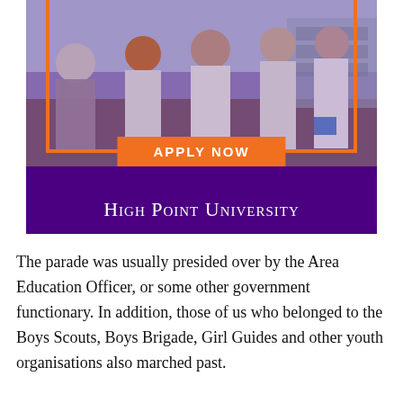[Figure (photo): Advertisement for High Point University showing researchers in white lab coats working in a laboratory. Orange frame borders the photo. An orange banner reads 'APPLY NOW'. Below the photo on a dark purple background is the text 'High Point University' in white small-caps.]
The parade was usually presided over by the Area Education Officer, or some other government functionary. In addition, those of us who belonged to the Boys Scouts, Boys Brigade, Girl Guides and other youth organisations also marched past.